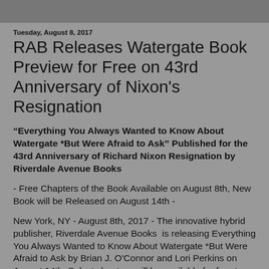Tuesday, August 8, 2017
RAB Releases Watergate Book Preview for Free on 43rd Anniversary of Nixon's Resignation
“Everything You Always Wanted to Know About Watergate *But Were Afraid to Ask” Published for the 43rd Anniversary of Richard Nixon Resignation by Riverdale Avenue Books
- Free Chapters of the Book Available on August 8th, New Book will be Released on August 14th -
New York, NY - August 8th, 2017 - The innovative hybrid publisher, Riverdale Avenue Books  is releasing Everything You Always Wanted to Know About Watergate *But Were Afraid to Ask by Brian J. O’Connor and Lori Perkins on August 14th. Select chapters will be available for free to read on RiverdaleAveBooks.com on August 8th, the 43rd